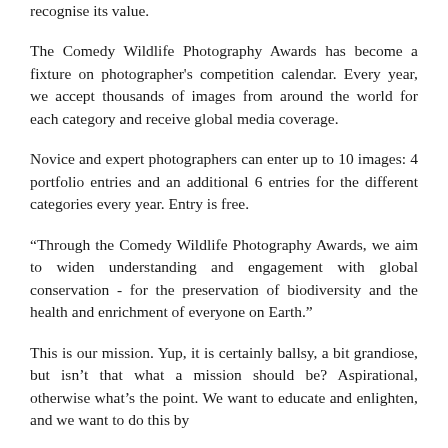recognise its value.
The Comedy Wildlife Photography Awards has become a fixture on photographer's competition calendar. Every year, we accept thousands of images from around the world for each category and receive global media coverage.
Novice and expert photographers can enter up to 10 images: 4 portfolio entries and an additional 6 entries for the different categories every year. Entry is free.
“Through the Comedy Wildlife Photography Awards, we aim to widen understanding and engagement with global conservation - for the preservation of biodiversity and the health and enrichment of everyone on Earth.”
This is our mission. Yup, it is certainly ballsy, a bit grandiose, but isn’t that what a mission should be? Aspirational, otherwise what’s the point. We want to educate and enlighten, and we want to do this by